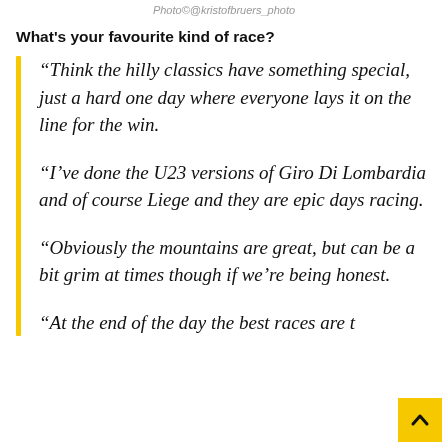Photo©@kristofbruers_photo
What's your favourite kind of race?
“Think the hilly classics have something special, just a hard one day where everyone lays it on the line for the win.
“I’ve done the U23 versions of Giro Di Lombardia and of course Liege and they are epic days racing.
“Obviously the mountains are great, but can be a bit grim at times though if we’re being honest.
“At the end of the day the best races are t